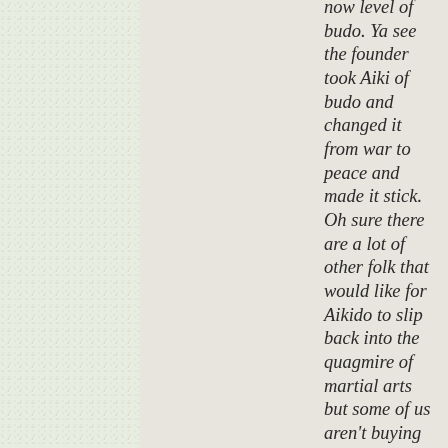now level of budo. Ya see the founder took Aiki of budo and changed it from war to peace and made it stick. Oh sure there are a lot of other folk that would like for Aikido to slip back into the quagmire of martial arts but some of us aren't buying it. They can't understand it and they don't want to spend the time to learn it so they